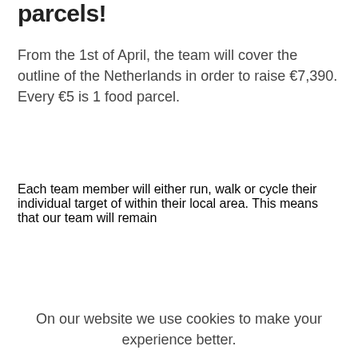parcels!
From the 1st of April, the team will cover the outline of the Netherlands in order to raise €7,390. Every €5 is 1 food parcel.
Each team member will either run, walk or cycle their individual target of within their local area. This means that our team will remain
On our website we use cookies to make your experience better.
Adjust
Accept